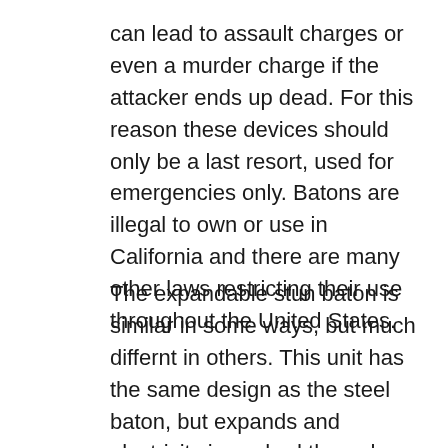can lead to assault charges or even a murder charge if the attacker ends up dead. For this reason these devices should only be a last resort, used for emergencies only. Batons are illegal to own or use in California and there are many other laws restricting their use throughout the United States.
The expandable stun baton is similar in some ways, but much differnt in others. This unit has the same design as the steel baton, but expands and electricity is pushed through the expanded part of the metal. This baton has a distinct advantage over a stun gun. A stun gun has very little reach and you must be very